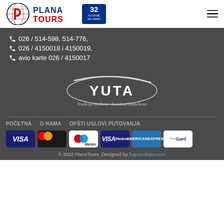[Figure (logo): Plana Tours logo with globe icon and '32 Godine Sa Vama' badge]
026 / 514-598, 514-776,
026 / 4150018 i 4150019,
avio karte 026 / 4150017
[Figure (logo): YUTA logo with tagline: Tradicija kvaliteta • Standard budućnosti]
POČETNA   O NAMA   OPŠTI USLOVI PUTOVANJA
[Figure (other): Payment icons: VISA, MasterCard, Maestro, VISA Electron, American Express, DinaGard]
© 2022 PlanaTours. Designed by bojovicdejan.com